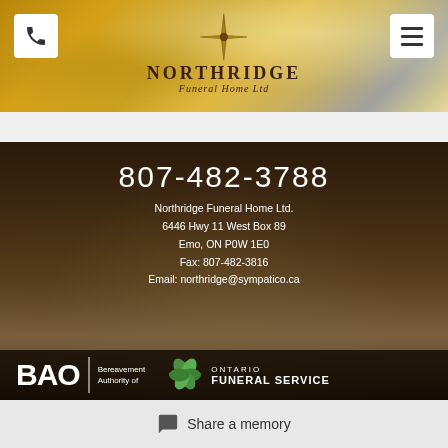[Figure (logo): Northridge Funeral Home Ltd. logo with compass star and script text on golden sky background. Phone icon button on left, hamburger menu button on right.]
807-482-3788
Northridge Funeral Home Ltd.
6446 Hwy 11 West Box 89
Emo, ON P0W 1E0
Fax: 807-482-3816
Email: northridge@sympatico.ca
[Figure (logo): BAO Bereavement Authority of Ontario logo and Ontario Funeral Service logo side by side on dark background]
Share a memory